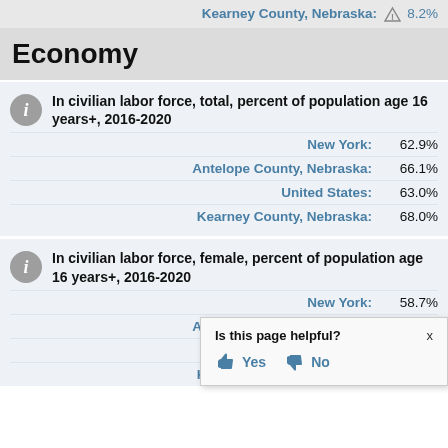Kearney County, Nebraska: ⚠ 8.2%
Economy
In civilian labor force, total, percent of population age 16 years+, 2016-2020
| Location | Value |
| --- | --- |
| New York: | 62.9% |
| Antelope County, Nebraska: | 66.1% |
| United States: | 63.0% |
| Kearney County, Nebraska: | 68.0% |
In civilian labor force, female, percent of population age 16 years+, 2016-2020
| Location | Value |
| --- | --- |
| New York: | 58.7% |
| Antelope County, Nebraska: | 61.5% |
| United States: | [obscured] |
| Kearney County, Nebraska: | [obscured] |